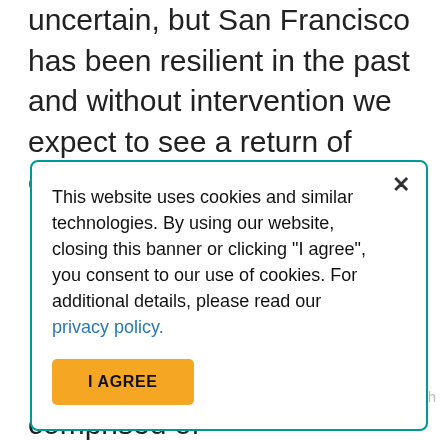uncertain, but San Francisco has been resilient in the past and without intervention we expect to see a return of congestion and its negative impacts.
This website uses cookies and similar technologies. By using our website, closing this banner or clicking "I agree", you consent to our use of cookies. For additional details, please read our privacy policy.
Policy Advisory Committee comprised of